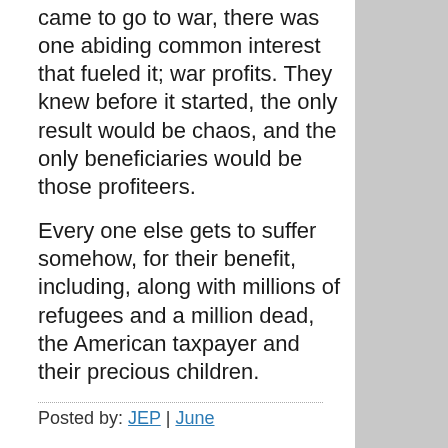came to go to war, there was one abiding common interest that fueled it; war profits. They knew before it started, the only result would be chaos, and the only beneficiaries would be those profiteers.
Every one else gets to suffer somehow, for their benefit, including, along with millions of refugees and a million dead, the American taxpayer and their precious children.
Posted by: JEP | June